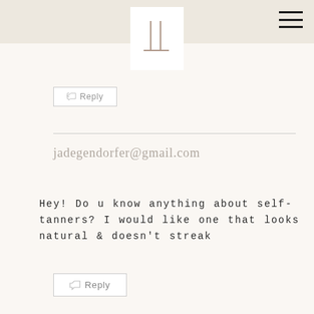[Figure (logo): Minimalist logo with two vertical lines and a horizontal base line forming an abstract letter mark]
Reply
jadegendorfer@gmail.com
Hey! Do u know anything about self-tanners? I would like one that looks natural & doesn't streak
Reply